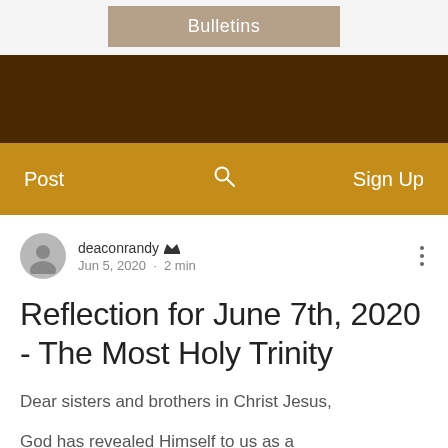Bulletins
[Figure (screenshot): Dark brown banner area at top of website]
Post  [search icon]  Sign Up
deaconrandy [admin icon] Jun 5, 2020 · 2 min
Reflection for June 7th, 2020 - The Most Holy Trinity
Dear sisters and brothers in Christ Jesus,
God has revealed Himself to us as a